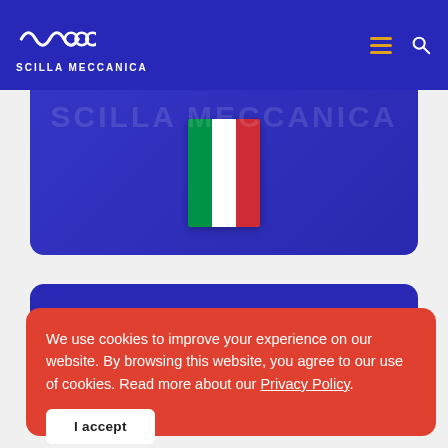SCILLA MECCANICA
[Figure (screenshot): Hero banner section with Italian flag centered on blue background with faint 'SCILLA MECCANICA' watermark text]
We use cookies to improve your experience on our website. By browsing this website, you agree to our use of cookies. Read more about our Privacy Policy.
I accept